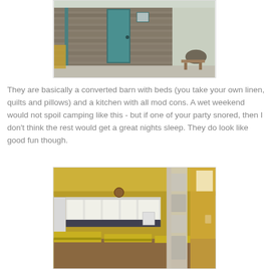[Figure (photo): Exterior of a converted stone barn with a teal/blue door and gravel path]
They are basically a converted barn with beds (you take your own linen, quilts and pillows) and a kitchen with all mod cons. A wet weekend would not spoil camping like this - but if one of your party snored, then I don't think the rest would get a great nights sleep. They do look like good fun though.
[Figure (photo): Interior of a converted barn showing yellow mattress beds and a kitchen area with white cabinets, yellow walls, and curtained partitions]